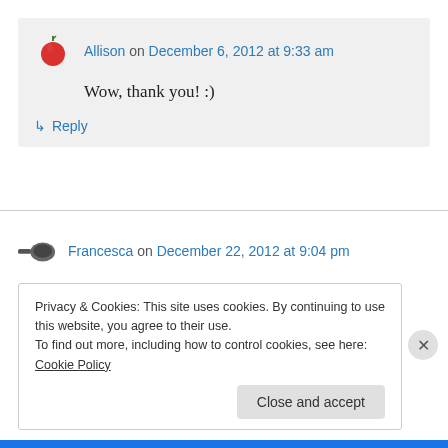[Figure (illustration): Red tomato avatar icon for Allison comment]
Allison on December 6, 2012 at 9:33 am
Wow, thank you! :)
↳ Reply
[Figure (illustration): Frying pan avatar icon for Francesca comment]
Francesca on December 22, 2012 at 9:04 pm
Hi Allison.
I nominated you for an award. Check my post
Privacy & Cookies: This site uses cookies. By continuing to use this website, you agree to their use.
To find out more, including how to control cookies, see here: Cookie Policy
Close and accept